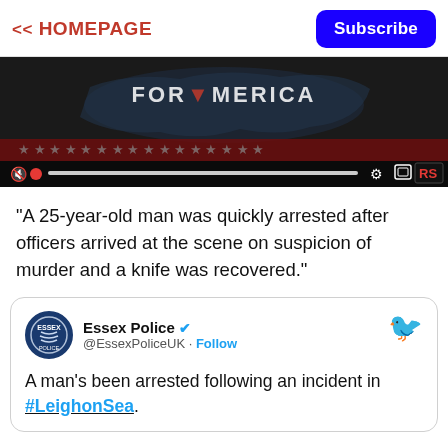<< HOMEPAGE  [Subscribe button]
[Figure (screenshot): Video player showing a dark patriotic American-themed background with text 'FOR AMERICA' and video controls bar at the bottom including mute, progress bar, settings gear, fullscreen, and RS logo.]
"A 25-year-old man was quickly arrested after officers arrived at the scene on suspicion of murder and a knife was recovered."
[Figure (screenshot): Embedded tweet from Essex Police (@EssexPoliceUK) with a Follow button and Twitter bird icon. Tweet reads: A man's been arrested following an incident in #LeighonSea.]